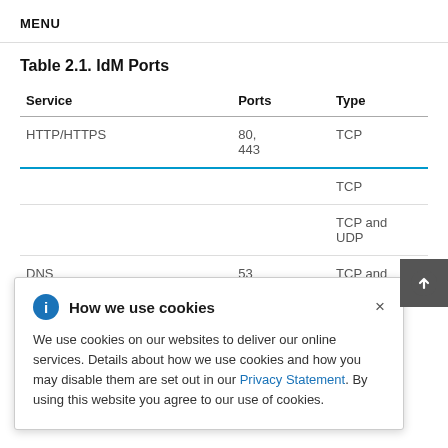MENU
Table 2.1. IdM Ports
| Service | Ports | Type |
| --- | --- | --- |
| HTTP/HTTPS | 80, 443 | TCP |
|  |  | TCP |
|  |  | TCP and UDP |
| DNS | 53 | TCP and UDP |
How we use cookies
We use cookies on our websites to deliver our online services. Details about how we use cookies and how you may disable them are set out in our Privacy Statement. By using this website you agree to our use of cookies.